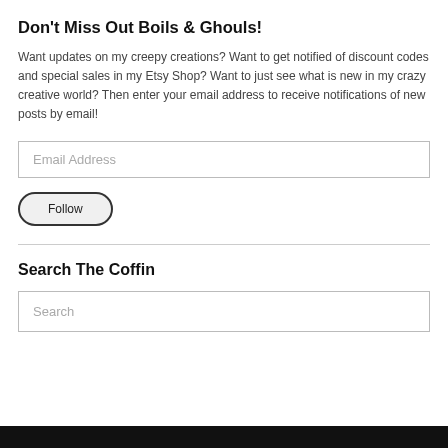Don't Miss Out Boils & Ghouls!
Want updates on my creepy creations? Want to get notified of discount codes and special sales in my Etsy Shop? Want to just see what is new in my crazy creative world? Then enter your email address to receive notifications of new posts by email!
Email Address
Follow
Search The Coffin
Search